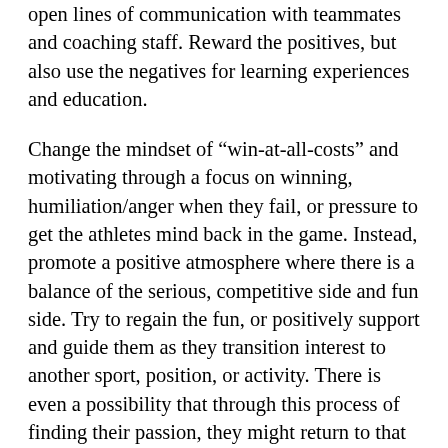open lines of communication with teammates and coaching staff. Reward the positives, but also use the negatives for learning experiences and education.
Change the mindset of “win-at-all-costs” and motivating through a focus on winning, humiliation/anger when they fail, or pressure to get the athletes mind back in the game. Instead, promote a positive atmosphere where there is a balance of the serious, competitive side and fun side. Try to regain the fun, or positively support and guide them as they transition interest to another sport, position, or activity. There is even a possibility that through this process of finding their passion, they might return to that same sport because they want to, not because they were forced. Also, by reducing the monotony of training and allowing your child to try different sports or positions, you can promote varying levels of strengthening, muscle memory, and physical and mental growth.